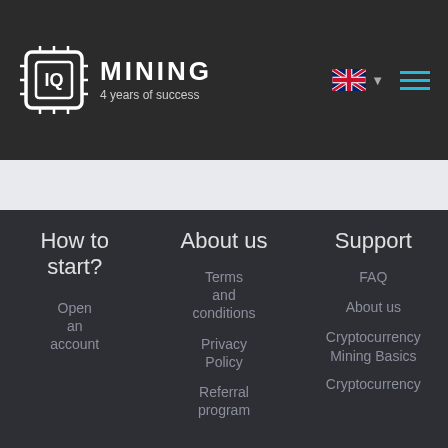IQ MINING – 4 years of success
How to start?
Open an account
About us
Terms and conditions
Privacy Policy
Referral program
Support
FAQ
About us
Cryptocurrency Mining Basics
Cryptocurrency